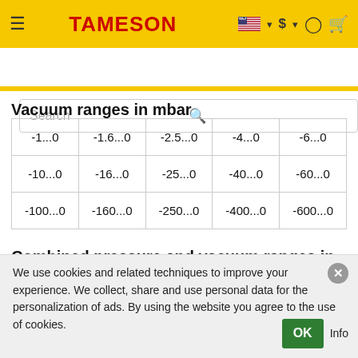TAMESON
Vacuum ranges in mbar
| -1...0 | -1.6...0 | -2.5...0 | -4...0 | -6...0 |
| -10...0 | -16...0 | -25...0 | -40...0 | -60...0 |
| -100...0 | -160...0 | -250...0 | -400...0 | -600...0 |
Combined pressure and vacuum ranges in bar
| -1.06 | -1.15 | -1.3 | -1.5 |
We use cookies and related techniques to improve your experience. We collect, share and use personal data for the personalization of ads. By using the website you agree to the use of cookies.